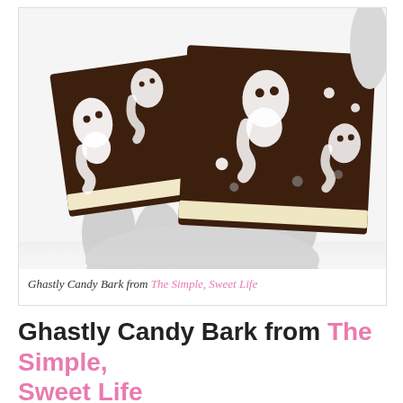[Figure (photo): Photo of two square pieces of chocolate candy bark decorated with white ghost shapes and small round candy dots, held in a gloved hand against a white background.]
Ghastly Candy Bark from The Simple, Sweet Life
Ghastly Candy Bark from The Simple, Sweet Life